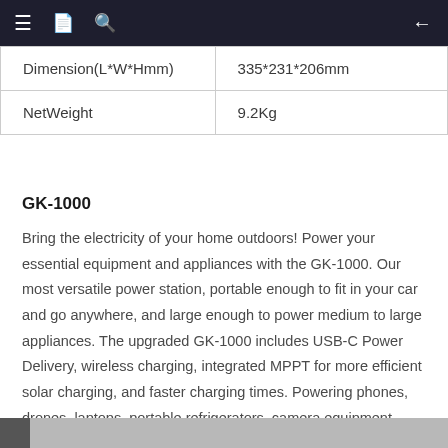Navigation bar with menu, document, search icons and back arrow
| Dimension(L*W*Hmm) | 335*231*206mm |
| NetWeight | 9.2Kg |
GK-1000
Bring the electricity of your home outdoors! Power your essential equipment and appliances with the GK-1000. Our most versatile power station, portable enough to fit in your car and go anywhere, and large enough to power medium to large appliances. The upgraded GK-1000 includes USB-C Power Delivery, wireless charging, integrated MPPT for more efficient solar charging, and faster charging times. Powering phones, drones, laptops, portable refrigerators, camera equipment, medical equipment, TVs and more. Can be powered in camping, home, RV, etc.